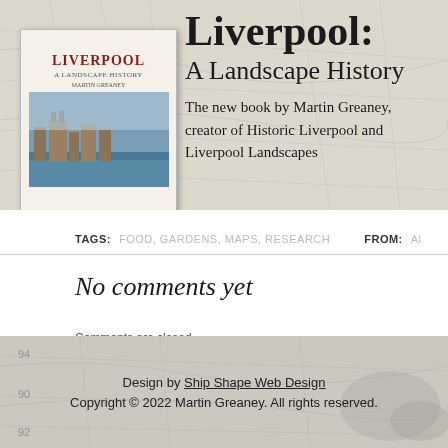[Figure (illustration): Book cover for 'Liverpool: A Landscape History' by Martin Greaney, shown alongside the book title and author description on a map-patterned background banner.]
Liverpool: A Landscape History
The new book by Martin Greaney, creator of Historic Liverpool and Liverpool Landscapes
TAGS: FOOD, GARDENS, MAPS, RESEARCH   FROM: A...
No comments yet
Comments are closed.
Design by Ship Shape Web Design
Copyright © 2022 Martin Greaney. All rights reserved.